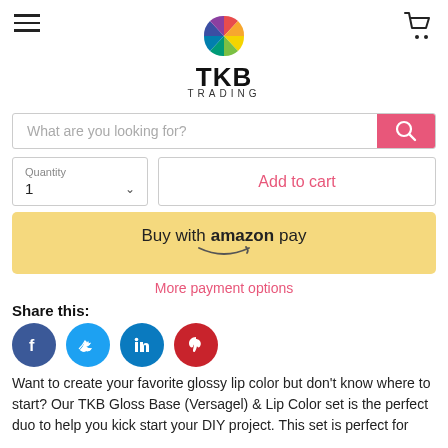[Figure (logo): TKB Trading logo with colorful pie-chart style icon and text TKB TRADING]
[Figure (other): Search bar with placeholder 'What are you looking for?' and pink search button with magnifying glass icon]
[Figure (other): Quantity selector showing '1' with dropdown arrow, and Add to cart button]
[Figure (other): Buy with amazon pay button in yellow/gold color]
More payment options
Share this:
[Figure (other): Social media share icons: Facebook (blue), Twitter (light blue), LinkedIn (dark blue), Pinterest (red)]
Want to create your favorite glossy lip color but don't know where to start? Our TKB Gloss Base (Versagel) & Lip Color set is the perfect duo to help you kick start your DIY project. This set is perfect for